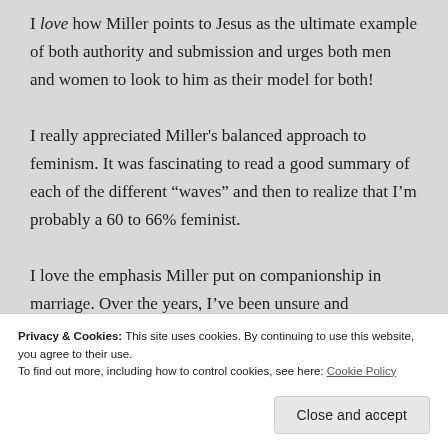I love how Miller points to Jesus as the ultimate example of both authority and submission and urges both men and women to look to him as their model for both!
I really appreciated Miller's balanced approach to feminism. It was fascinating to read a good summary of each of the different “waves” and then to realize that I’m probably a 60 to 66% feminist.
I love the emphasis Miller put on companionship in marriage. Over the years, I’ve been unsure and
Privacy & Cookies: This site uses cookies. By continuing to use this website, you agree to their use.
To find out more, including how to control cookies, see here: Cookie Policy
Close and accept